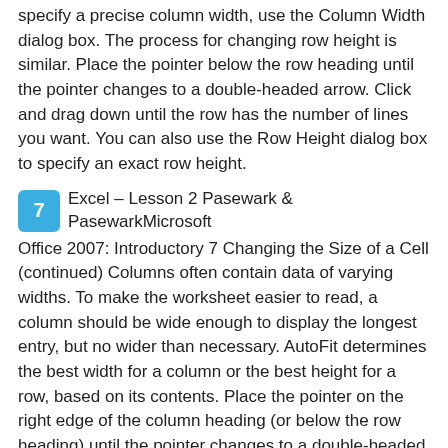specify a precise column width, use the Column Width dialog box. The process for changing row height is similar. Place the pointer below the row heading until the pointer changes to a double-headed arrow. Click and drag down until the row has the number of lines you want. You can also use the Row Height dialog box to specify an exact row height.
7  Excel – Lesson 2 Pasewark & PasewarkMicrosoft Office 2007: Introductory 7 Changing the Size of a Cell (continued) Columns often contain data of varying widths. To make the worksheet easier to read, a column should be wide enough to display the longest entry, but no wider than necessary. AutoFit determines the best width for a column or the best height for a row, based on its contents. Place the pointer on the right edge of the column heading (or below the row heading) until the pointer changes to a double-headed arrow. Then, double-click to resize the column or row to the best fit.
8  Excel – Lesson 2 Pasewark & PasewarkMicrosoft Office 2007: Introductory 8 Positioning Data Within a Cell Unless you specify otherwise, text you enter in a cell is lined up along the bottom-left side of the cell, and numbers you enter in a cell are lined up along the bottom-right side of the cell. You can align the contents of a cell horizontally and